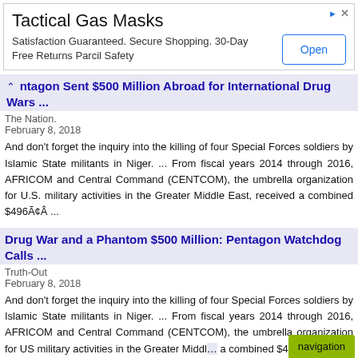[Figure (screenshot): Advertisement banner for Tactical Gas Masks with Open button]
Pentagon Sent $500 Million Abroad for International Drug Wars ...
The Nation.
February 8, 2018
And don't forget the inquiry into the killing of four Special Forces soldiers by Islamic State militants in Niger. ... From fiscal years 2014 through 2016, AFRICOM and Central Command (CENTCOM), the umbrella organization for U.S. military activities in the Greater Middle East, received a combined $496ÃÂ ...
Drug War and a Phantom $500 Million: Pentagon Watchdog Calls ...
Truth-Out
February 8, 2018
And don't forget the inquiry into the killing of four Special Forces soldiers by Islamic State militants in Niger. ... From fiscal years 2014 through 2016, AFRICOM and Central Command (CENTCOM), the umbrella organization for US military activities in the Greater Middl… a combined $496ÃÂ ...